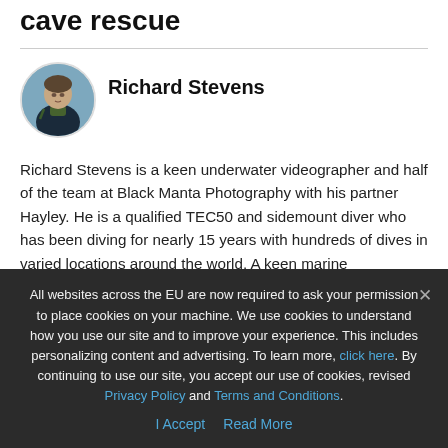cave rescue
[Figure (photo): Circular profile photo of Richard Stevens, a diver wearing scuba gear outdoors]
Richard Stevens
Richard Stevens is a keen underwater videographer and half of the team at Black Manta Photography with his partner Hayley. He is a qualified TEC50 and sidemount diver who has been diving for nearly 15 years with hundreds of dives in varied locations around the world. A keen marine conservationist, with a passion for large pelagic marine animals, Richard has studied marine biology and spent time studying the ecology of sharks. Richard also has a
All websites across the EU are now required to ask your permission to place cookies on your machine. We use cookies to understand how you use our site and to improve your experience. This includes personalizing content and advertising. To learn more, click here. By continuing to use our site, you accept our use of cookies, revised Privacy Policy and Terms and Conditions.

I Accept   Read More